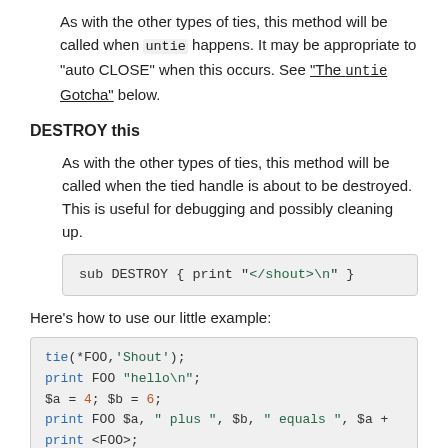As with the other types of ties, this method will be called when untie happens. It may be appropriate to "auto CLOSE" when this occurs. See "The untie Gotcha" below.
DESTROY this
As with the other types of ties, this method will be called when the tied handle is about to be destroyed. This is useful for debugging and possibly cleaning up.
sub DESTROY { print "</shout>\n" }
Here's how to use our little example:
tie(*FOO,'Shout');
print FOO "hello\n";
$a = 4; $b = 6;
print FOO $a, " plus ", $b, " equals ", $a +
print <FOO>;